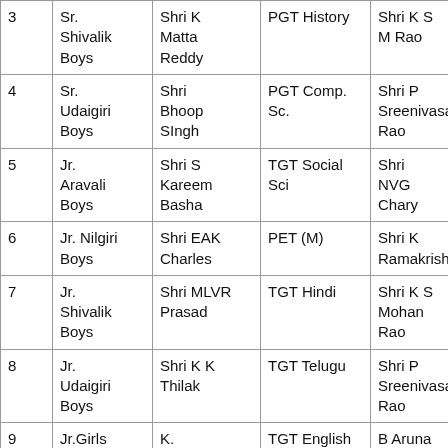|  | School | Teacher | Post | Principal |
| --- | --- | --- | --- | --- |
| 3 | Sr. Shivalik Boys | Shri K Matta Reddy | PGT History | Shri K S M Rao |
| 4 | Sr. Udaigiri Boys | Shri Bhoop SIngh | PGT Comp. Sc. | Shri P Sreenivasa Rao |
| 5 | Jr. Aravali Boys | Shri S Kareem Basha | TGT Social Sci | Shri NVG Chary |
| 6 | Jr. Nilgiri Boys | Shri EAK Charles | PET (M) | Shri K Ramakrishnaial |
| 7 | Jr. Shivalik Boys | Shri MLVR Prasad | TGT Hindi | Shri K S Mohan Rao |
| 8 | Jr. Udaigiri Boys | Shri K K Thilak | TGT Telugu | Shri P Sreenivasa Rao |
| 9 | Jr.Girls | K. | TGT English | B Aruna |